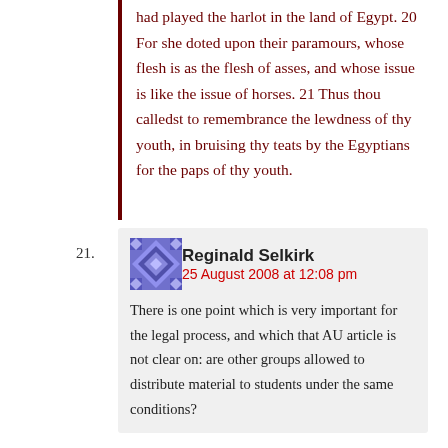had played the harlot in the land of Egypt. 20 For she doted upon their paramours, whose flesh is as the flesh of asses, and whose issue is like the issue of horses. 21 Thus thou calledst to remembrance the lewdness of thy youth, in bruising thy teats by the Egyptians for the paps of thy youth.
21. Reginald Selkirk — 25 August 2008 at 12:08 pm
There is one point which is very important for the legal process, and which that AU article is not clear on: are other groups allowed to distribute material to students under the same conditions?